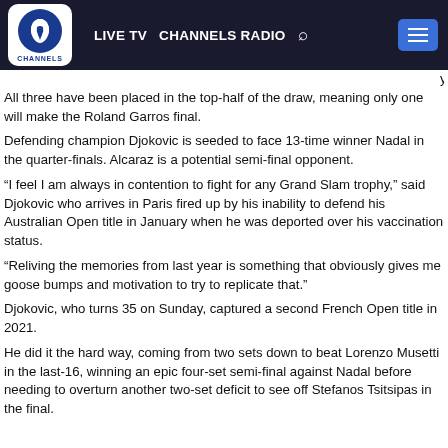LIVE TV  CHANNELS RADIO
All three have been placed in the top-half of the draw, meaning only one will make the Roland Garros final.
Defending champion Djokovic is seeded to face 13-time winner Nadal in the quarter-finals. Alcaraz is a potential semi-final opponent.
“I feel I am always in contention to fight for any Grand Slam trophy,” said Djokovic who arrives in Paris fired up by his inability to defend his Australian Open title in January when he was deported over his vaccination status.
“Reliving the memories from last year is something that obviously gives me goose bumps and motivation to try to replicate that.”
Djokovic, who turns 35 on Sunday, captured a second French Open title in 2021.
He did it the hard way, coming from two sets down to beat Lorenzo Musetti in the last-16, winning an epic four-set semi-final against Nadal before needing to overturn another two-set deficit to see off Stefanos Tsitsipas in the final.